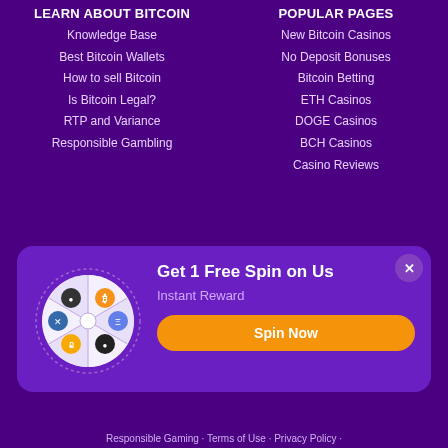LEARN ABOUT BITCOIN
Knowledge Base
Best Bitcoin Wallets
How to sell Bitcoin
Is Bitcoin Legal?
RTP and Variance
Responsible Gambling
POPULAR PAGES
New Bitcoin Casinos
No Deposit Bonuses
Bitcoin Betting
ETH Casinos
DOGE Casinos
BCH Casinos
Casino Reviews
[Figure (infographic): Promotional card with a spinning wheel showing crypto icons and a 'Get 1 Free Spin on Us' offer with 'Instant Reward' subtitle and an orange 'Spin Now' button]
Responsible Gaming · Terms of Use · Privacy Policy ·